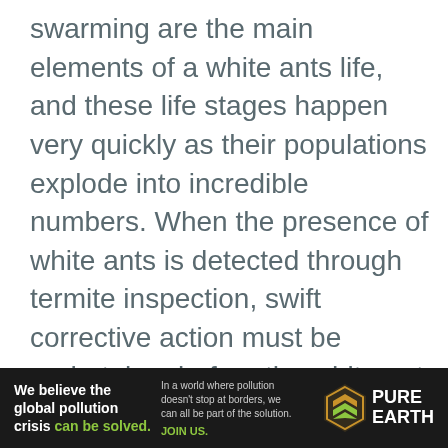swarming are the main elements of a white ants life, and these life stages happen very quickly as their populations explode into incredible numbers. When the presence of white ants is detected through termite inspection, swift corrective action must be undertaken before the white ant colony grows to even larger numbers that will prove to be unmanageable without extensive support from extermination professionals.

If your home is confirmed to have a white ant presence and the population is in
[Figure (other): Advertisement banner for Pure Earth. Dark background with text: 'We believe the global pollution crisis can be solved.' and 'In a world where pollution doesn't stop at borders, we can all be part of the solution. JOIN US.' with Pure Earth logo (diamond/chevron shapes in gold/green) on the right.]